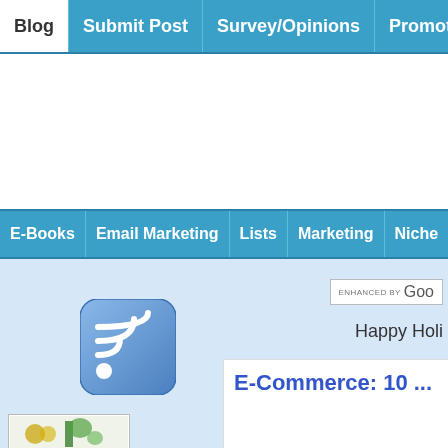Blog | Submit Post | Survey/Opinions | Promote | Busy Moms | S...
[Figure (screenshot): White advertisement area (banner ad placeholder)]
E-Books | Email Marketing | Lists | Marketing | Niche | Offers | Reviews | S...
[Figure (logo): RSS feed icon - blue rounded square with white wifi signal symbol]
[Figure (photo): Small banner image with money and figurine graphics]
ENHANCED BY Goo
Happy Holi
E-Commerce: 10 ...